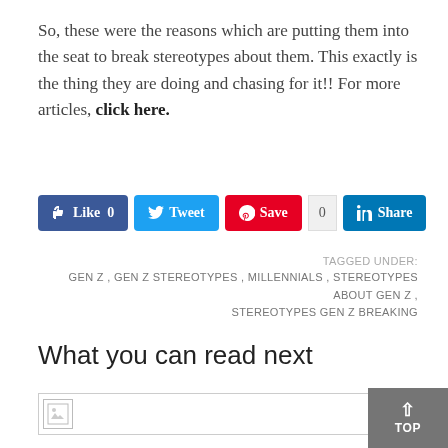So, these were the reasons which are putting them into the seat to break stereotypes about them. This exactly is the thing they are doing and chasing for it!! For more articles, click here.
[Figure (screenshot): Social media sharing buttons: Facebook Like (0), Twitter Tweet, Pinterest Save, LinkedIn Share (0)]
TAGGED UNDER: GEN Z, GEN Z STEREOTYPES, MILLENNIALS, STEREOTYPES ABOUT GEN Z, STEREOTYPES GEN Z BREAKING
What you can read next
[Figure (photo): Broken image placeholder in a content preview bar at the bottom of the page]